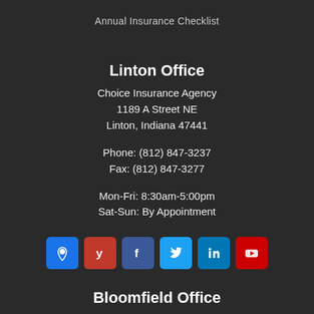Annual Insurance Checklist
Linton Office
Choice Insurance Agency
1189 A Street NE
Linton, Indiana 47441
Phone: (812) 847-3237
Fax: (812) 847-3277
Mon-Fri: 8:30am-5:00pm
Sat-Sun: By Appointment
[Figure (infographic): Row of 6 social media icon buttons: Google Maps (blue), Yelp (red), Facebook (dark blue), Twitter (light blue), LinkedIn (blue), YouTube (red)]
Bloomfield Office